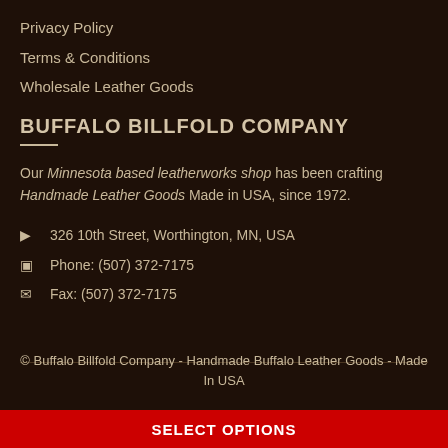Privacy Policy
Terms & Conditions
Wholesale Leather Goods
BUFFALO BILLFOLD COMPANY
Our Minnesota based leatherworks shop has been crafting Handmade Leather Goods Made in USA, since 1972.
326 10th Street, Worthington, MN, USA
Phone: (507) 372-7175
Fax: (507) 372-7175
© Buffalo Billfold Company - Handmade Buffalo Leather Goods - Made In USA
SELECT OPTIONS